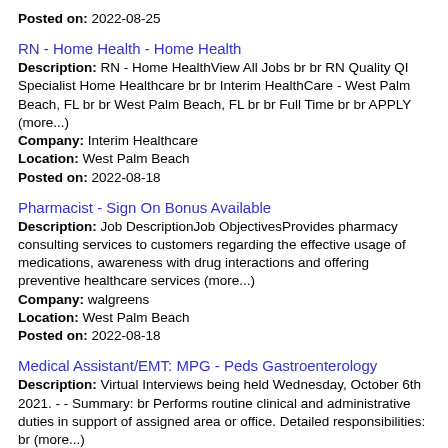Posted on: 2022-08-25
RN - Home Health - Home Health
Description: RN - Home HealthView All Jobs br br RN Quality QI Specialist Home Healthcare br br Interim HealthCare - West Palm Beach, FL br br West Palm Beach, FL br br Full Time br br APPLY (more...)
Company: Interim Healthcare
Location: West Palm Beach
Posted on: 2022-08-18
Pharmacist - Sign On Bonus Available
Description: Job DescriptionJob ObjectivesProvides pharmacy consulting services to customers regarding the effective usage of medications, awareness with drug interactions and offering preventive healthcare services (more...)
Company: walgreens
Location: West Palm Beach
Posted on: 2022-08-18
Medical Assistant/EMT: MPG - Peds Gastroenterology
Description: Virtual Interviews being held Wednesday, October 6th 2021. - - Summary: br Performs routine clinical and administrative duties in support of assigned area or office. Detailed responsibilities: br (more...)
Company: Memorial Healthcare System
Location: Hollywood